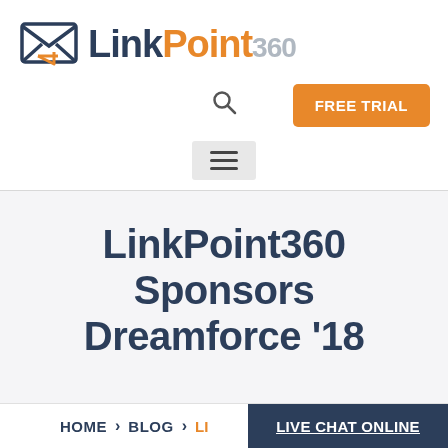[Figure (logo): LinkPoint360 logo with envelope icon on the left and text LinkPoint360 on the right, where Link is dark navy, Point is orange, and 360 is light gray]
[Figure (other): Orange button labeled FREE TRIAL in the top right navigation area]
[Figure (other): Hamburger menu icon (three horizontal lines) inside a light gray rounded box]
LinkPoint360 Sponsors Dreamforce '18
HOME › BLOG › LI...  LIVE CHAT ONLINE